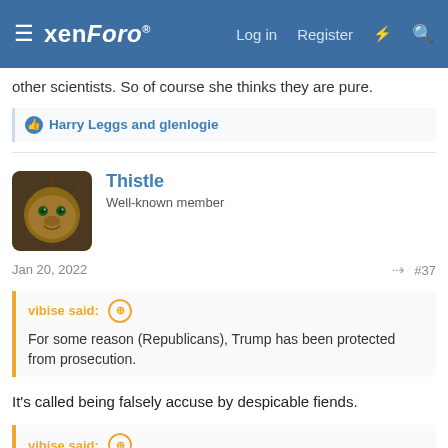xenForo | Log in | Register
other scientists. So of course she thinks they are pure.
Harry Leggs and glenlogie
Thistle
Well-known member
Jan 20, 2022 #37
vibise said: ⊕
For some reason (Republicans), Trump has been protected from prosecution.
It's called being falsely accuse by despicable fiends.
vibise said: ⊕
If he had never run for POTUS, all of this might have stayed below the radar.